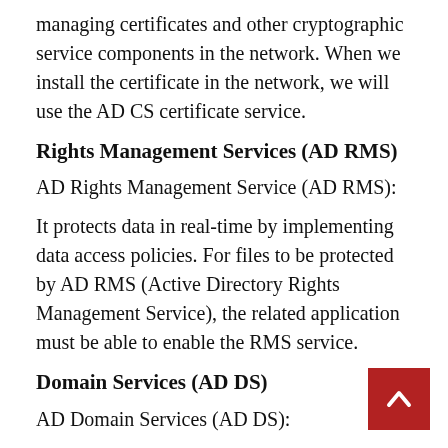managing certificates and other cryptographic service components in the network. When we install the certificate in the network, we will use the AD CS certificate service.
Rights Management Services (AD RMS)
AD Rights Management Service (AD RMS):
It protects data in real-time by implementing data access policies. For files to be protected by AD RMS (Active Directory Rights Management Service), the related application must be able to enable the RMS service.
Domain Services (AD DS)
AD Domain Services (AD DS):
This is the main role of AD. AD Domain Services stores and manages all network information